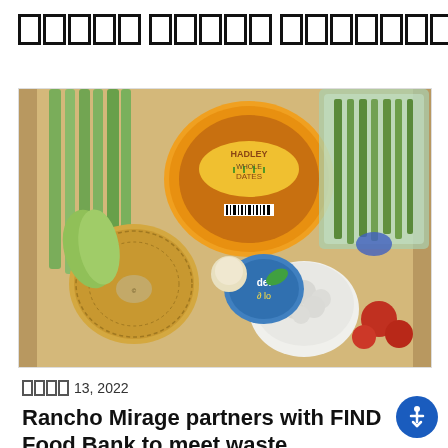[REDACTED] [REDACTED] [REDACTED]
[Figure (photo): A cardboard box filled with fresh produce including celery, melon, cauliflower, green onions, and a container of Hadley Whole Dates]
[REDACTED] 13, 2022
Rancho Mirage partners with FIND Food Bank to meet waste